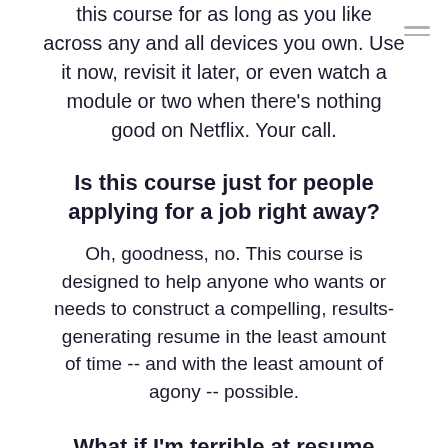this course for as long as you like across any and all devices you own. Use it now, revisit it later, or even watch a module or two when there's nothing good on Netflix. Your call.
Is this course just for people applying for a job right away?
Oh, goodness, no. This course is designed to help anyone who wants or needs to construct a compelling, results-generating resume in the least amount of time -- and with the least amount of agony -- possible.
What if I'm terrible at resume